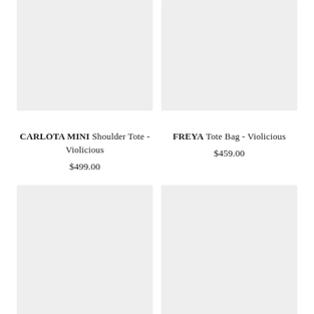[Figure (photo): Product image placeholder for CARLOTA MINI Shoulder Tote - Violicious]
[Figure (photo): Product image placeholder for FREYA Tote Bag - Violicious]
CARLOTA MINI Shoulder Tote - Violicious
$499.00
FREYA Tote Bag - Violicious
$459.00
[Figure (photo): Product image placeholder for HANDBAG STRAP]
[Figure (photo): Product image placeholder for HANNAH Tote Bag]
HANDBAG STRAP
HANNAH Tote Bag -